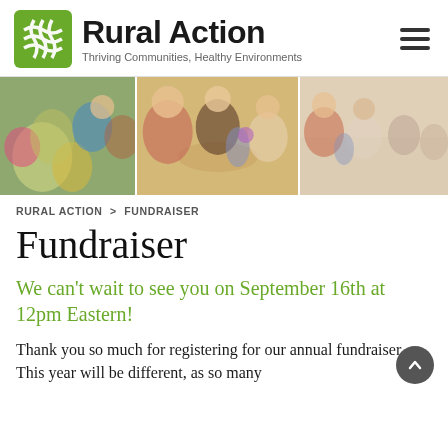[Figure (logo): Rural Action logo: green woven square icon, bold 'Rural Action' name, tagline 'Thriving Communities, Healthy Environments']
[Figure (photo): Three-panel photo strip showing people gathered at a fundraiser dinner event with floral centerpieces]
RURAL ACTION > FUNDRAISER
Fundraiser
We can’t wait to see you on September 16th at 12pm Eastern!
Thank you so much for registering for our annual fundraiser. This year will be different, as so many things are. We...